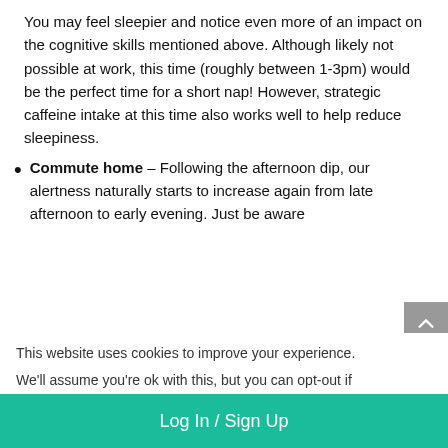You may feel sleepier and notice even more of an impact on the cognitive skills mentioned above. Although likely not possible at work, this time (roughly between 1-3pm) would be the perfect time for a short nap! However, strategic caffeine intake at this time also works well to help reduce sleepiness.
Commute home – Following the afternoon dip, our alertness naturally starts to increase again from late afternoon to early evening. Just be aware
This website uses cookies to improve your experience.
We'll assume you're ok with this, but you can opt-out if
Log In / Sign Up